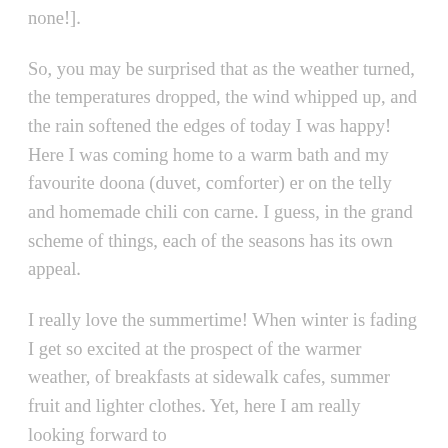none!].
So, you may be surprised that as the weather turned, the temperatures dropped, the wind whipped up, and the rain softened the edges of today I was happy! Here I was coming home to a warm bath and my favourite doona (duvet, comforter) er on the telly and homemade chili con carne. I guess, in the grand scheme of things, each of the seasons has its own appeal.
I really love the summertime! When winter is fading I get so excited at the prospect of the warmer weather, of breakfasts at sidewalk cafes, summer fruit and lighter clothes. Yet, here I am really looking forward to